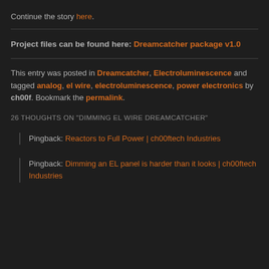Continue the story here.
Project files can be found here: Dreamcatcher package v1.0
This entry was posted in Dreamcatcher, Electroluminescence and tagged analog, el wire, electroluminescence, power electronics by ch00f. Bookmark the permalink.
26 THOUGHTS ON "DIMMING EL WIRE DREAMCATCHER"
Pingback: Reactors to Full Power | ch00ftech Industries
Pingback: Dimming an EL panel is harder than it looks | ch00ftech Industries